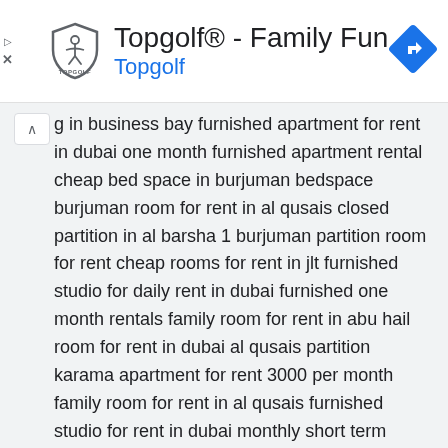[Figure (logo): Topgolf logo with shield/crest shape and 'TOPGOLF' text below]
Topgolf® - Family Fun
Topgolf
[Figure (illustration): Blue diamond-shaped navigation/directions icon with right-turn arrow]
g in business bay furnished apartment for rent in dubai one month furnished apartment rental cheap bed space in burjuman bedspace burjuman room for rent in al qusais closed partition in al barsha 1 burjuman partition room for rent cheap rooms for rent in jlt furnished studio for daily rent in dubai furnished one month rentals family room for rent in abu hail room for rent in dubai al qusais partition karama apartment for rent 3000 per month family room for rent in al qusais furnished studio for rent in dubai monthly short term rental furnished apartments furnished short term lease studio hotel apartments with kitchen in dubai for monthly rent fully furnished apartment for rent in dubai rashidiya bed space 2 month lease apartments bed space near oasis center dubai dubizzle family room available in rashidiya dubai fully furnished room for rent bed space in dubai